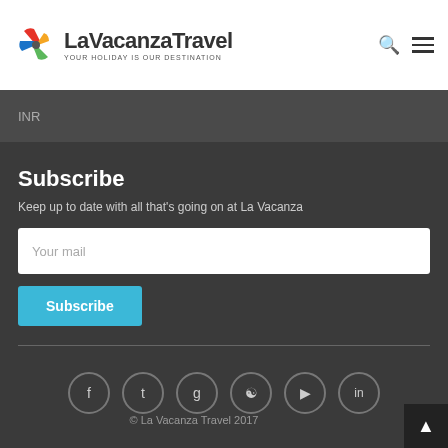[Figure (logo): LaVacanza Travel logo with colorful pinwheel and text 'LaVacanza Travel - YOUR HOLIDAY IS OUR DESTINATION']
INR
Subscribe
Keep up to date with all that's going on at La Vacanza
[Figure (screenshot): Email input field with placeholder 'Your mail']
[Figure (screenshot): Subscribe button in blue]
[Figure (infographic): Social media icons: Facebook, Twitter, Google+, Pinterest, YouTube, LinkedIn]
© La Vacanza Travel 2017